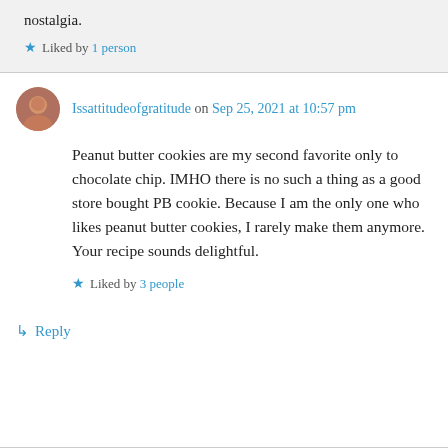nostalgia.
★ Liked by 1 person
Issattitudeofgratitude on Sep 25, 2021 at 10:57 pm
Peanut butter cookies are my second favorite only to chocolate chip. IMHO there is no such a thing as a good store bought PB cookie. Because I am the only one who likes peanut butter cookies, I rarely make them anymore. Your recipe sounds delightful.
★ Liked by 3 people
↳ Reply